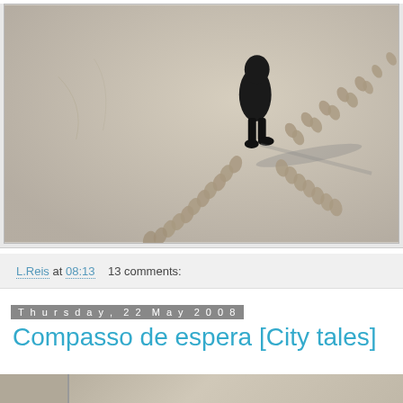[Figure (photo): Black and white photograph of a person standing on a sandy surface (desert or beach) with two trails of footprints crossing in an X or V pattern. The figure is dressed in dark clothing and casts a long shadow. The footprints diverge from the person's position.]
L.Reis at 08:13    13 comments:
Thursday, 22 May 2008
Compasso de espera [City tales]